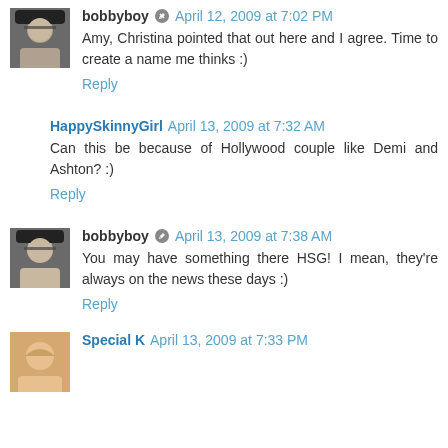bobbyboy April 12, 2009 at 7:02 PM
Amy, Christina pointed that out here and I agree. Time to create a name me thinks :)
Reply
HappySkinnyGirl April 13, 2009 at 7:32 AM
Can this be because of Hollywood couple like Demi and Ashton? :)
Reply
bobbyboy April 13, 2009 at 7:38 AM
You may have something there HSG! I mean, they're always on the news these days :)
Reply
Special K April 13, 2009 at 7:33 PM